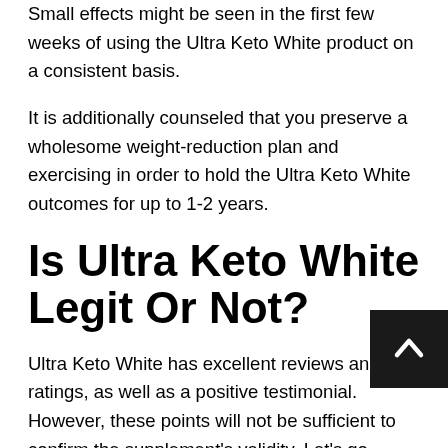Small effects might be seen in the first few weeks of using the Ultra Keto White product on a consistent basis.
It is additionally counseled that you preserve a wholesome weight-reduction plan and exercising in order to hold the Ultra Keto White outcomes for up to 1-2 years.
Is Ultra Keto White Legit Or Not?
Ultra Keto White has excellent reviews and ratings, as well as a positive testimonial. However, these points will not be sufficient to confirm the supplement's validity. Let's go